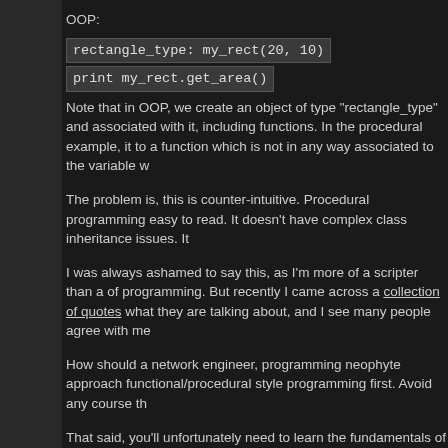OOP:
Note that in OOP, we create an object of type "rectangle_type" and associated with it, including functions.  In the procedural example, it to a function which is not in any way associated to the variable w
The problem is, this is counter-intuitive.  Procedural programming easy to read.  It doesn't have complex class inheritance issues.  It
I was always ashamed to say this, as I'm more of a scripter than a of programming.  But recently I came across a collection of quotes what they are talking about, and I see many people agree with me
How should a network engineer, programming neophyte approach functional/procedural style programming first.  Avoid any course th
That said, you'll unfortunately need to learn the fundamentals of C most Python libraries you'll be using are object oriented.  Even bu have a number of OO functions associated with them.  (Want to m